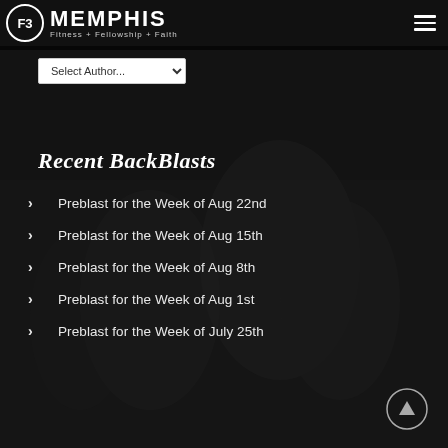F3 Memphis — Fitness + Fellowship + Faith
[Figure (screenshot): F3 Memphis website header with circular F3 logo, MEMPHIS wordmark, Fitness + Fellowship + Faith tagline, and hamburger menu icon on black background]
Select Author...
Recent BackBlasts
Preblast for the Week of Aug 22nd
Preblast for the Week of Aug 15th
Preblast for the Week of Aug 8th
Preblast for the Week of Aug 1st
Preblast for the Week of July 25th